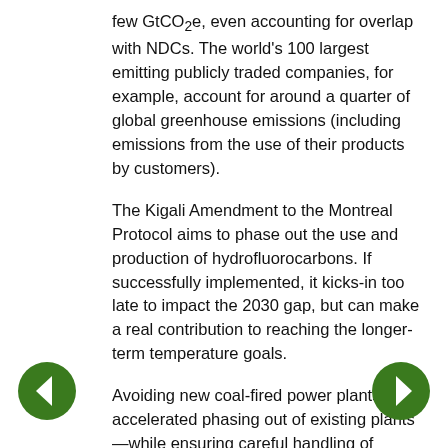few GtCO2e, even accounting for overlap with NDCs. The world's 100 largest emitting publicly traded companies, for example, account for around a quarter of global greenhouse emissions (including emissions from the use of their products by customers).
The Kigali Amendment to the Montreal Protocol aims to phase out the use and production of hydrofluorocarbons. If successfully implemented, it kicks-in too late to impact the 2030 gap, but can make a real contribution to reaching the longer-term temperature goals.
Avoiding new coal-fired power plants and accelerated phasing out of existing plants—while ensuring careful handling of issues such as employment, investor interests and grid stability—would help the emissions picture. There are an estimated 6,683 operating coal-fired power plants in the world, with a combined capacity of 1,964 GW. If these plants are operated until the end of their lifetime and not retrofitted with Carbon Capture and Storage, they would emit an accumulated 190 Gt of CO2.
[Figure (other): Left navigation arrow button (dark green circle with white left-pointing arrow)]
[Figure (other): Right navigation arrow button (dark green circle with white right-pointing arrow)]